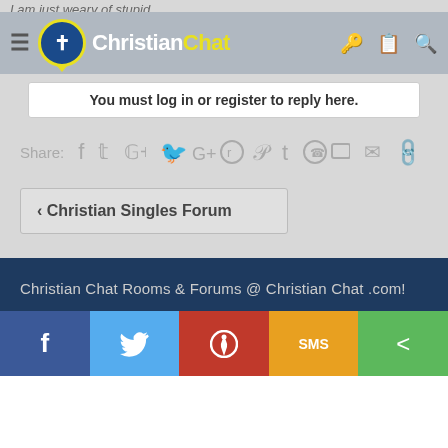Christian Chat — navigation bar with logo
You must log in or register to reply here.
Share: (social icons: Facebook, Twitter, Google+, Reddit, Pinterest, Tumblr, WhatsApp, Email, Link)
< Christian Singles Forum
Christian Chat Rooms & Forums @ ChristianChat.com! Contact Us  Terms of Service  Privacy Policy  Help  ↑  RSS
[Figure (other): Social share bottom bar with Facebook, Twitter, Pinterest, SMS, and share icons]